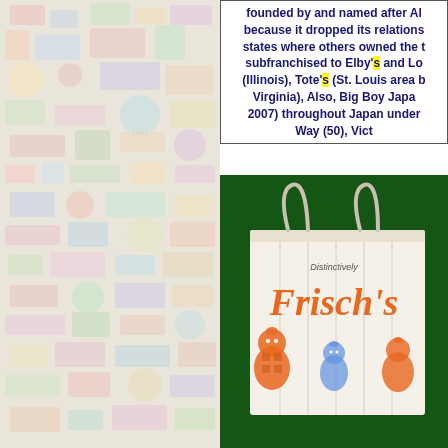[Figure (photo): Colorful collage of toy packaging, candy wrappers, and various product labels visible on the left side of the page, rendered with faded/washed-out appearance]
founded by and named after Al... because it dropped its relations... states where others owned the t... subfranchised to Elby's and Lo... (Illinois), Tote's (St. Louis area b... Virginia), Also, Big Boy Japan... 2007) throughout Japan under... Way (50), Vict...
[Figure (photo): Photo of a white paper shopping bag with rope handles against a green background. The bag reads 'Distinctively Frisch's' and features orange script text saying 'Frisch's' with illustrated Big Boy mascot characters in orange and blue at the bottom.]